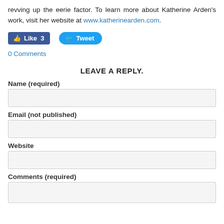revving up the eerie factor. To learn more about Katherine Arden's work, visit her website at www.katherinearden.com.
[Figure (other): Facebook Like button (count: 3) and Twitter Tweet button]
0 Comments
LEAVE A REPLY.
Name (required)
Email (not published)
Website
Comments (required)